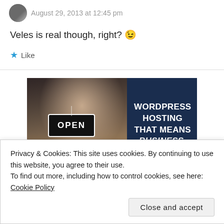August 29, 2013 at 12:45 pm
Veles is real though, right? 😉
★ Like
[Figure (photo): Advertisement banner showing a woman holding an OPEN sign with text: WORDPRESS HOSTING THAT MEANS BUSINESS.]
Privacy & Cookies: This site uses cookies. By continuing to use this website, you agree to their use.
To find out more, including how to control cookies, see here: Cookie Policy
Close and accept